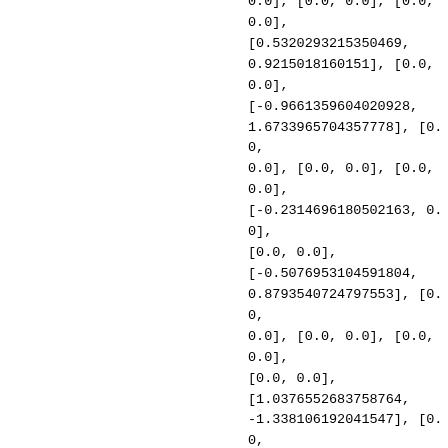0.0], [0.0, 0.0], [0.0, 0.0], [0.5320293215350469, 0.9215018160151], [0.0, 0.0], [-0.9661359604020928, 1.6733965704357778], [0.0, 0.0], [0.0, 0.0], [0.0, 0.0], [-0.2314696180502163, 0.0], [0.0, 0.0], [-0.5076953104591804, 0.8793540724797553], [0.0, 0.0], [0.0, 0.0], [0.0, 0.0], [0.0, 0.0], [1.0376552683758764, -1.338106192041547], [0.0, 0.0], [-0.2582390593717921, -0.4472831713307398], [0.0, 0.0], [0.0, 0.0], [0.0, 0.0], [0.0, 0.0], [1.124903381060779, 0.0], [0.0, 0.0], [-0.9005630278936679, 0.0], [0.0, 0.0], [0.0, 0.0], [0.0,